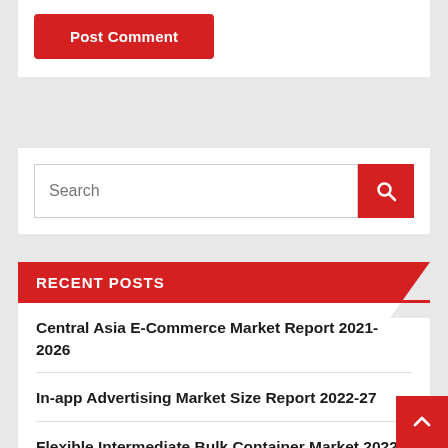Post Comment
Search
RECENT POSTS
Central Asia E-Commerce Market Report 2021-2026
In-app Advertising Market Size Report 2022-27
Flexible Intermediate Bulk Container Market 2022-2027